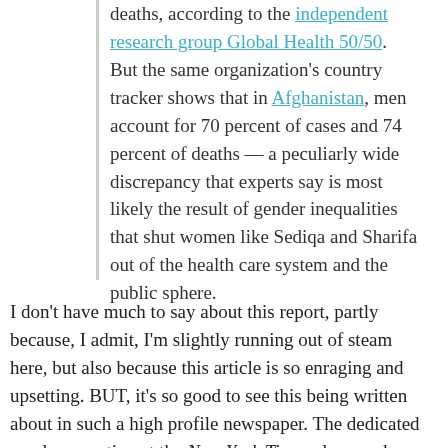deaths, according to the independent research group Global Health 50/50. But the same organization's country tracker shows that in Afghanistan, men account for 70 percent of cases and 74 percent of deaths — a peculiarly wide discrepancy that experts say is most likely the result of gender inequalities that shut women like Sediqa and Sharifa out of the health care system and the public sphere.
I don't have much to say about this report, partly because, I admit, I'm slightly running out of steam here, but also because this article is so enraging and upsetting. BUT, it's so good to see this being written about in such a high profile newspaper. The dedicated gender reporting at the New York Times alone makes my sub worth it, and if you haven't signed up to their newsletter In Her Words, now's the time to do so. And follow @alisha_g, who writes most of them, on